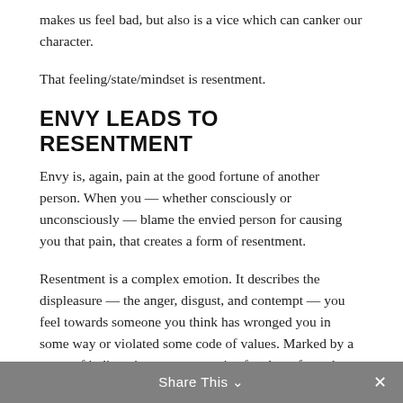makes us feel bad, but also is a vice which can canker our character.
That feeling/state/mindset is resentment.
ENVY LEADS TO RESENTMENT
Envy is, again, pain at the good fortune of another person. When you — whether consciously or unconsciously — blame the envied person for causing you that pain, that creates a form of resentment.
Resentment is a complex emotion. It describes the displeasure — the anger, disgust, and contempt — you feel towards someone you think has wronged you in some way or violated some code of values. Marked by a sense of indignation, resentment is often born from the perception that you (or those you care about) have been treated unfairly.
Share This ∨  ✕